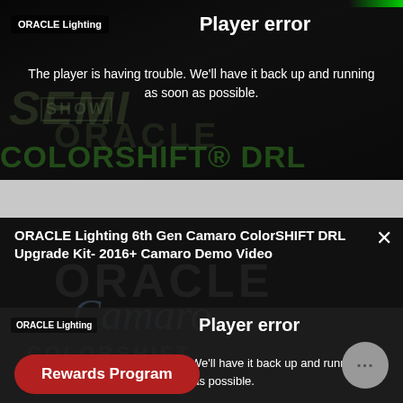[Figure (screenshot): Video player showing 'Player error' message. Header shows 'ORACLE Lighting' label and 'Player error' title. Body text: 'The player is having trouble. We'll have it back up and running as soon as possible.' Background shows dark SEMA/ORACLE/ColorSHIFT DRL Chips branding.]
[Figure (screenshot): Modal dialog for 'ORACLE Lighting 6th Gen Camaro ColorSHIFT DRL Upgrade Kit- 2016+ Camaro Demo Video' with an embedded video player also showing 'Player error'. Player header 'ORACLE Lighting' and 'Player error'. Message: 'The player is having trouble. We'll have it back up and running as soon as possible.' Background shows ORACLE/Camaro/ColorSHIFT DRL Kit watermark text. Close X button top-right. Rewards Program button bottom-left. Chat bubble bottom-right.]